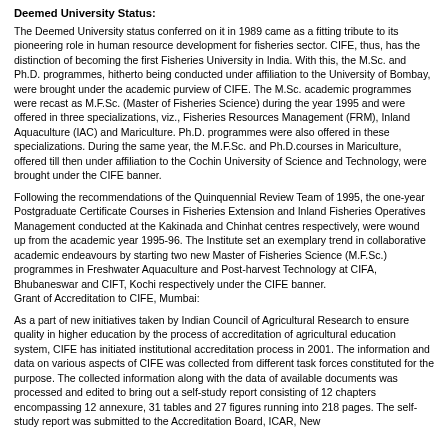Deemed University Status:
The Deemed University status conferred on it in 1989 came as a fitting tribute to its pioneering role in human resource development for fisheries sector. CIFE, thus, has the distinction of becoming the first Fisheries University in India. With this, the M.Sc. and Ph.D. programmes, hitherto being conducted under affiliation to the University of Bombay, were brought under the academic purview of CIFE. The M.Sc. academic programmes were recast as M.F.Sc. (Master of Fisheries Science) during the year 1995 and were offered in three specializations, viz., Fisheries Resources Management (FRM), Inland Aquaculture (IAC) and Mariculture. Ph.D. programmes were also offered in these specializations. During the same year, the M.F.Sc. and Ph.D.courses in Mariculture, offered till then under affiliation to the Cochin University of Science and Technology, were brought under the CIFE banner.
Following the recommendations of the Quinquennial Review Team of 1995, the one-year Postgraduate Certificate Courses in Fisheries Extension and Inland Fisheries Operatives Management conducted at the Kakinada and Chinhat centres respectively, were wound up from the academic year 1995-96. The Institute set an exemplary trend in collaborative academic endeavours by starting two new Master of Fisheries Science (M.F.Sc.) programmes in Freshwater Aquaculture and Post-harvest Technology at CIFA, Bhubaneswar and CIFT, Kochi respectively under the CIFE banner.
Grant of Accreditation to CIFE, Mumbai:
As a part of new initiatives taken by Indian Council of Agricultural Research to ensure quality in higher education by the process of accreditation of agricultural education system, CIFE has initiated institutional accreditation process in 2001. The information and data on various aspects of CIFE was collected from different task forces constituted for the purpose. The collected information along with the data of available documents was processed and edited to bring out a self-study report consisting of 12 chapters encompassing 12 annexure, 31 tables and 27 figures running into 218 pages. The self-study report was submitted to the Accreditation Board, ICAR, New